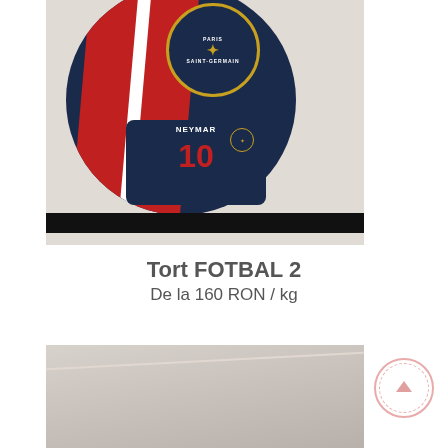[Figure (photo): A PSG (Paris Saint-Germain) themed football cake shaped like a soccer ball with the PSG logo on top and a navy blue cap/jersey decoration showing number 10 (Neymar) placed on a black base plate, photographed against a light beige background.]
Tort FOTBAL 2
De la 160 RON / kg
[Figure (photo): Partial view of another cake product, showing mostly a beige/taupe background with a small portion of a cake visible in the lower left.]